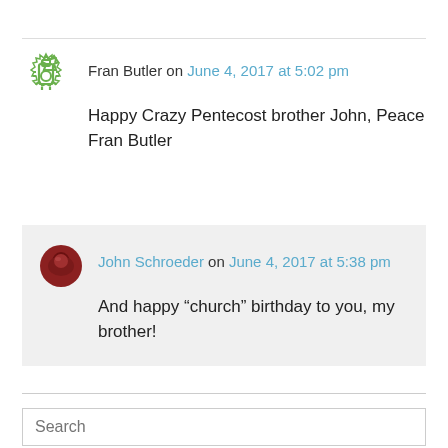Fran Butler on June 4, 2017 at 5:02 pm
Happy Crazy Pentecost brother John, Peace Fran Butler
John Schroeder on June 4, 2017 at 5:38 pm
And happy “church” birthday to you, my brother!